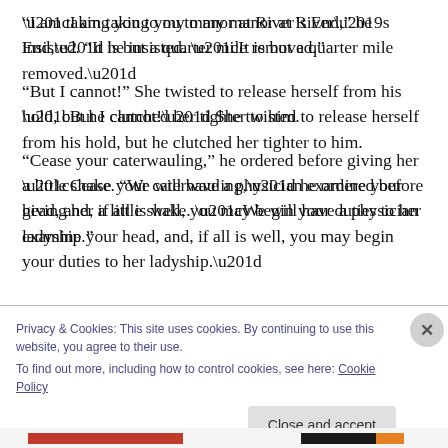“I am taking you to my manor at River’s End,” he insisted. “It is but a quarter mile removed.”
“But I cannot!” She twisted to release herself from his hold, but he clutched her tighter to him.
“Cease your caterwauling,” he ordered before giving her a little shake. “We will have a physician examine your head, and, if all is well, you may begin your duties to her ladyship.”
Privacy & Cookies: This site uses cookies. By continuing to use this website, you agree to their use.
To find out more, including how to control cookies, see here: Cookie Policy
Close and accept